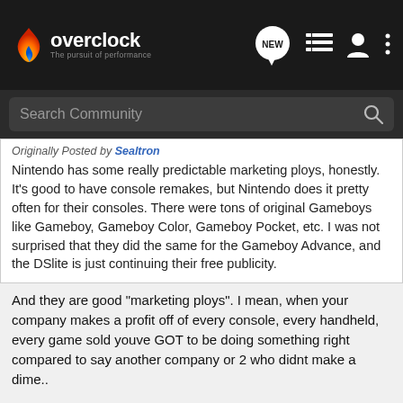overclock - The pursuit of performance
Search Community
Originally Posted by Sealtron
Nintendo has some really predictable marketing ploys, honestly. It's good to have console remakes, but Nintendo does it pretty often for their consoles. There were tons of original Gameboys like Gameboy, Gameboy Color, Gameboy Pocket, etc. I was not surprised that they did the same for the Gameboy Advance, and the DSlite is just continuing their free publicity.
And they are good "marketing ploys". I mean, when your company makes a profit off of every console, every handheld, every game sold youve GOT to be doing something right compared to say another company or 2 who didnt make a dime..